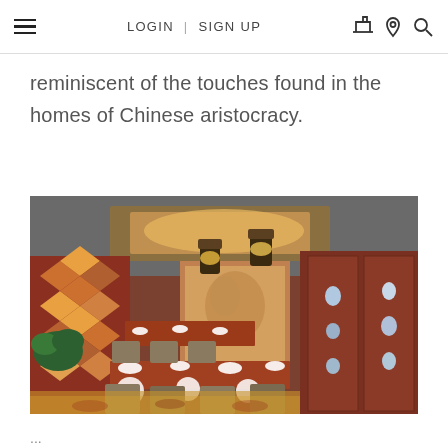LOGIN | SIGN UP
reminiscent of the touches found in the homes of Chinese aristocracy.
[Figure (photo): Elegant Chinese restaurant private dining room with red mahogany wood furniture, patterned carpet, decorative display cabinets with porcelain pieces, ornate ceiling lights, and a large floral mural on the wall.]
...